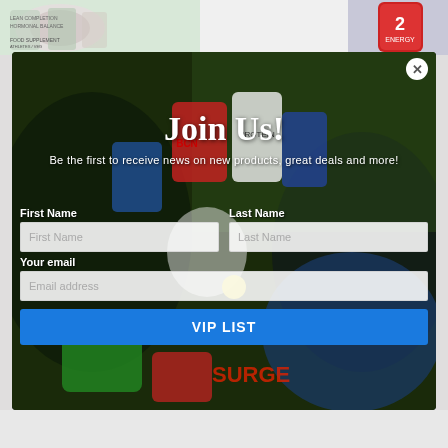[Figure (photo): Top strip showing sports supplement product images/cans on left and a red energy drink can on the right]
[Figure (photo): Modal popup with background photo of various sports supplement containers, protein powders, and fitness products on green grass/turf]
Join Us!
Be the first to receive news on new products, great deals and more!
First Name
Last Name
First Name
Last Name
Your email
Email address
VIP LIST